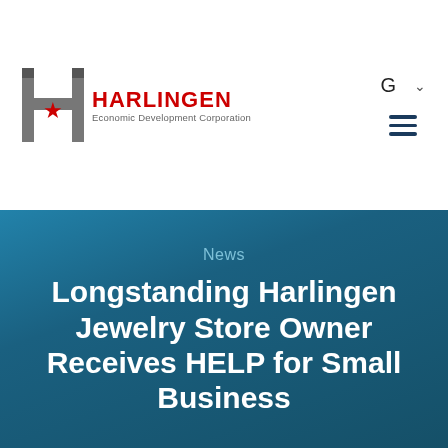[Figure (logo): Harlingen Economic Development Corporation logo with stylized H and red star]
G ˅ ≡
News
Longstanding Harlingen Jewelry Store Owner Receives HELP for Small Business